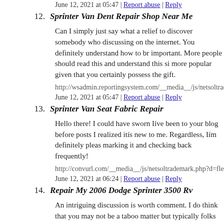June 12, 2021 at 05:47 | Report abuse | Reply
12. Sprinter Van Dent Repair Shop Near Me
Can I simply just say what a relief to discover somebody who discussing on the internet. You definitely understand how to br important. More people should read this and understand this si more popular given that you certainly possess the gift.
http://wsadmin.reportingsystem.com/__media__/js/netsoltrade
June 12, 2021 at 05:47 | Report abuse | Reply
13. Sprinter Van Seat Fabric Repair
Hello there! I could have sworn Iíve been to your blog before posts I realized itís new to me. Regardless, Iím definitely pleas marking it and checking back frequently!
http://convurl.com/__media__/js/netsoltrademark.php?d=fleet
June 12, 2021 at 06:24 | Report abuse | Reply
14. Repair My 2006 Dodge Sprinter 3500 Rv
An intriguing discussion is worth comment. I do think that you may not be a taboo matter but typically folks don't speak abou regards!!
http://...